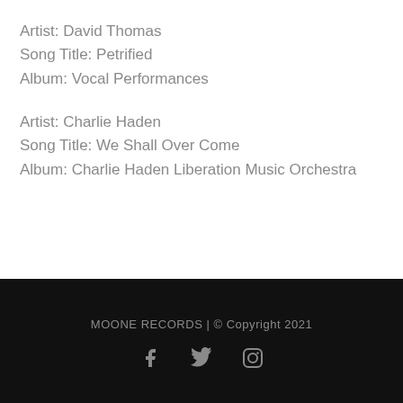Artist: David Thomas
Song Title: Petrified
Album: Vocal Performances
Artist: Charlie Haden
Song Title: We Shall Over Come
Album: Charlie Haden Liberation Music Orchestra
MOONE RECORDS | © Copyright 2021